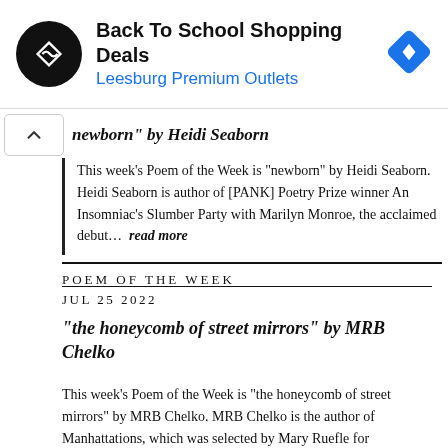[Figure (other): Advertisement banner: Back To School Shopping Deals at Leesburg Premium Outlets with logo and navigation icon]
“newborn” by Heidi Seaborn
This week’s Poem of the Week is “newborn” by Heidi Seaborn. Heidi Seaborn is author of [PANK] Poetry Prize winner An Insomniac’s Slumber Party with Marilyn Monroe, the acclaimed debut… read more
POEM OF THE WEEK
JUL 25 2022
“the honeycomb of street mirrors” by MRB Chelko
This week’s Poem of the Week is “the honeycomb of street mirrors” by MRB Chelko. MRB Chelko is the author of Manhattations, which was selected by Mary Ruefle for